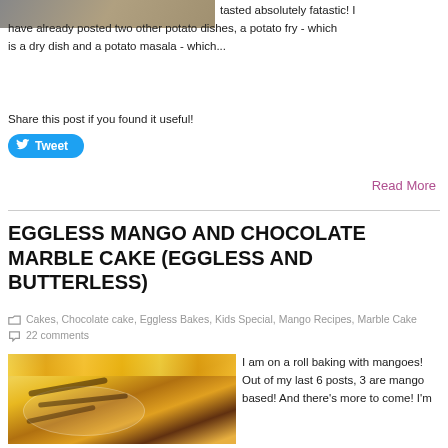[Figure (photo): Partial food/dish photo at top left corner]
tasted absolutely fatastic! I have already posted two other potato dishes, a potato fry - which is a dry dish and a potato masala - which...
Share this post if you found it useful!
[Figure (other): Twitter Tweet button]
Read More
EGGLESS MANGO AND CHOCOLATE MARBLE CAKE (EGGLESS AND BUTTERLESS)
Cakes, Chocolate cake, Eggless Bakes, Kids Special, Mango Recipes, Marble Cake  22 comments
[Figure (photo): Photo of mango chocolate marble cake slices on a plate with sunflowers in background]
I am on a roll baking with mangoes! Out of my last 6 posts, 3 are mango based! And there's more to come! I'm